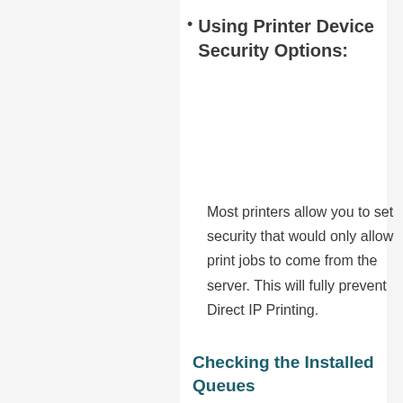Using Printer Device Security Options: Most printers allow you to set security that would only allow print jobs to come from the server. This will fully prevent Direct IP Printing.
Checking the Installed Queues